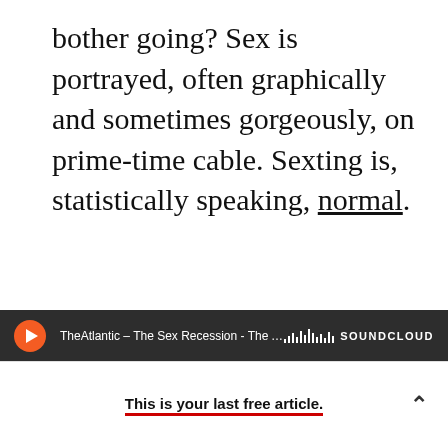bother going? Sex is portrayed, often graphically and sometimes gorgeously, on prime-time cable. Sexting is, statistically speaking, normal.
[Figure (screenshot): SoundCloud audio player bar showing orange play button, track title 'TheAtlantic – The Sex Recession - The Atlanti', and SoundCloud logo with waveform icon on dark background]
This is your last free article.